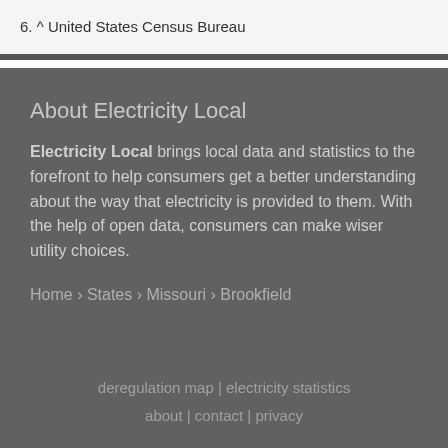6. ^ United States Census Bureau
About Electricity Local
Electricity Local brings local data and statistics to the forefront to help consumers get a better understanding about the way that electricity is provided to them. With the help of open data, consumers can make wiser utility choices.
Home › States › Missouri › Brookfield
deregulation map | electricity statistics about | contact | privacy